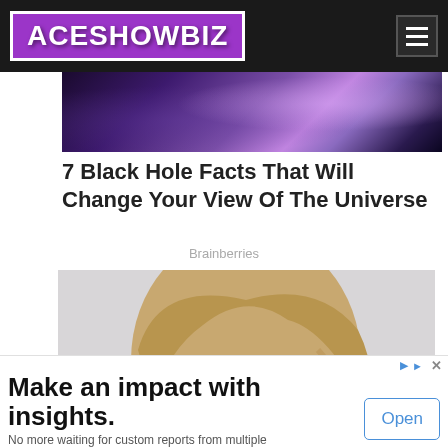ACESHOWBIZ
[Figure (photo): Galaxy/space background image strip]
7 Black Hole Facts That Will Change Your View Of The Universe
Brainberries
[Figure (photo): Portrait photo of a blonde woman wearing round black glasses, looking at camera, on a light grey background]
[Figure (other): Advertisement banner: Make an impact with insights. No more waiting for custom reports from multiple dashboards with Insights On the Go. Sense Forth. Open button.]